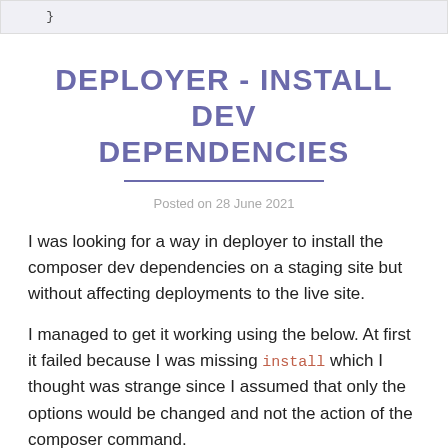}
DEPLOYER - INSTALL DEV DEPENDENCIES
Posted on 28 June 2021
I was looking for a way in deployer to install the composer dev dependencies on a staging site but without affecting deployments to the live site.
I managed to get it working using the below. At first it failed because I was missing install which I thought was strange since I assumed that only the options would be changed and not the action of the composer command.